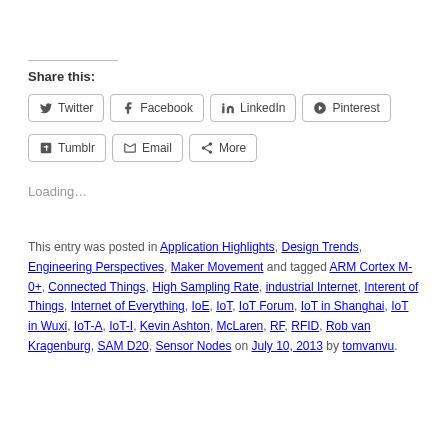Share this:
Twitter, Facebook, LinkedIn, Pinterest, Tumblr, Email, More
Loading...
This entry was posted in Application Highlights, Design Trends, Engineering Perspectives, Maker Movement and tagged ARM Cortex M-0+, Connected Things, High Sampling Rate, industrial Internet, Interent of Things, Internet of Everything, IoE, IoT, IoT Forum, IoT in Shanghai, IoT in Wuxi, IoT-A, IoT-I, Kevin Ashton, McLaren, RF, RFID, Rob van Kragenburg, SAM D20, Sensor Nodes on July 10, 2013 by tomvanvu.